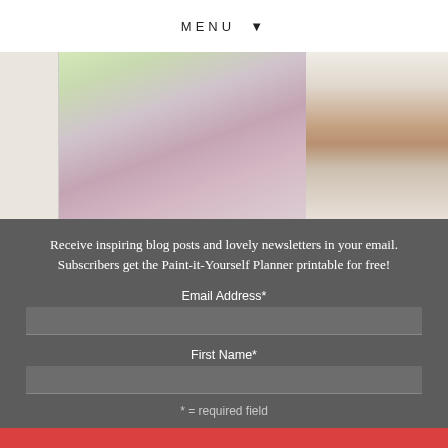MENU ▼
[Figure (photo): Watercolor sketchbook open to a page with a painted floral/vegetable in pink and green, beside wooden paintbrushes and a color swatch card.]
Receive inspiring blog posts and lovely newsletters in your email. Subscribers get the Paint-it-Yourself Planner printable for free!
Email Address*
First Name*
* = required field